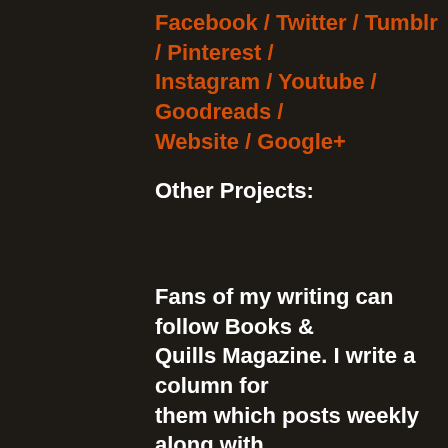Facebook / Twitter / Tumblr / Pinterest / Instagram / Youtube / Goodreads / Website / Google+
Other Projects:
Fans of my writing can follow Books & Quills Magazine. I write a column for them which posts weekly along with other articles of interest.
link: Books & Quills Magazine
My blogging